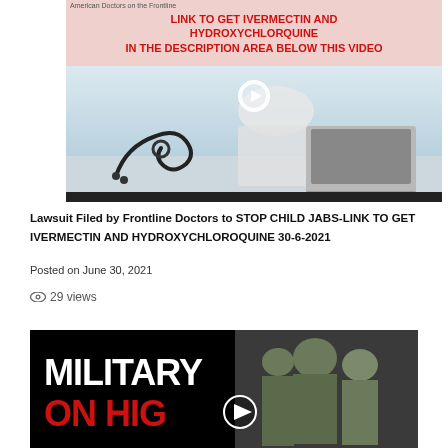[Figure (screenshot): Video thumbnail from 'American Doctors on the Frontline' showing bold red text: LINK TO GET IVERMECTIN AND HYDROXYCHLORQUINE IN THE DESCRIPTION AREA BELOW THIS VIDEO, with a doctor at a laptop and a stethoscope in the foreground. A play button is overlaid.]
Lawsuit Filed by Frontline Doctors to STOP CHILD JABS-LINK TO GET IVERMECTIN AND HYDROXYCHLOROQUINE 30-6-2021
Posted on June 30, 2021
29 views
[Figure (screenshot): Video thumbnail showing bold white text 'MILITARY' and bold red text 'ON HIGH' on a black background, with soldiers in military uniform on the right side. A play button is overlaid.]